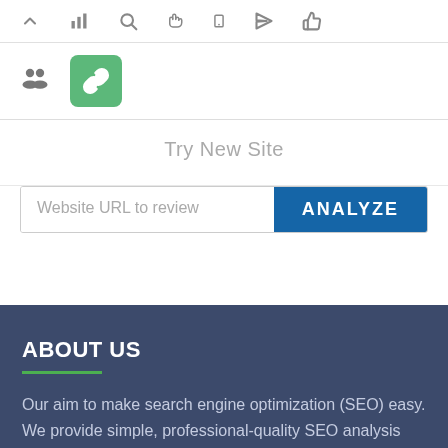[Figure (screenshot): Navigation bar with icons: chevron up, bar chart, search, hand/pointer, mobile, send/arrow, thumbs up]
[Figure (screenshot): Second icon row with people group icon and a green rounded square with chain/link icon (active state)]
Try New Site
[Figure (screenshot): URL input field with placeholder 'Website URL to review' and a blue ANALYZE button]
ABOUT US
Our aim to make search engine optimization (SEO) easy. We provide simple, professional-quality SEO analysis and critical